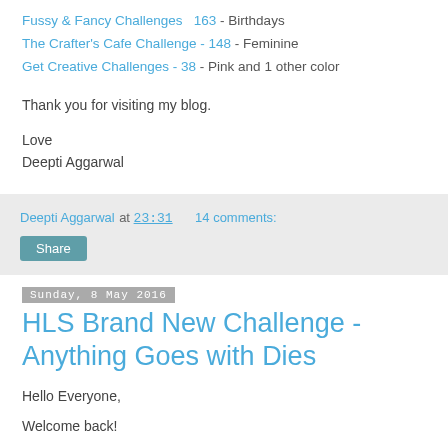Fussy & Fancy Challenges  163 - Birthdays
The Crafter's Cafe Challenge - 148 - Feminine
Get Creative Challenges - 38 - Pink and 1 other color
Thank you for visiting my blog.
Love
Deepti Aggarwal
Deepti Aggarwal at 23:31   14 comments:
Sunday, 8 May 2016
HLS Brand New Challenge - Anything Goes with Dies
Hello Everyone,
Welcome back!